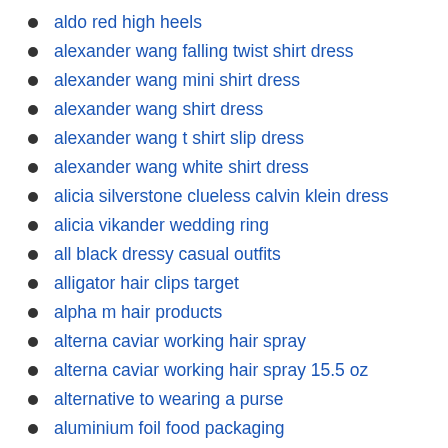aldo red high heels
alexander wang falling twist shirt dress
alexander wang mini shirt dress
alexander wang shirt dress
alexander wang t shirt slip dress
alexander wang white shirt dress
alicia silverstone clueless calvin klein dress
alicia vikander wedding ring
all black dressy casual outfits
alligator hair clips target
alpha m hair products
alterna caviar working hair spray
alterna caviar working hair spray 15.5 oz
alternative to wearing a purse
aluminium foil food packaging